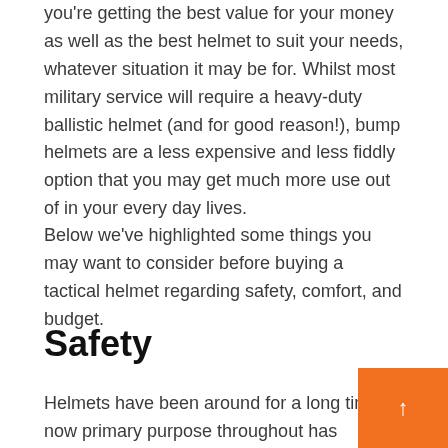you're getting the best value for your money as well as the best helmet to suit your needs, whatever situation it may be for. Whilst most military service will require a heavy-duty ballistic helmet (and for good reason!), bump helmets are a less expensive and less fiddly option that you may get much more use out of in your every day lives.
Below we've highlighted some things you may want to consider before buying a tactical helmet regarding safety, comfort, and budget.
Safety
Helmets have been around for a long time now primary purpose throughout has remained mo